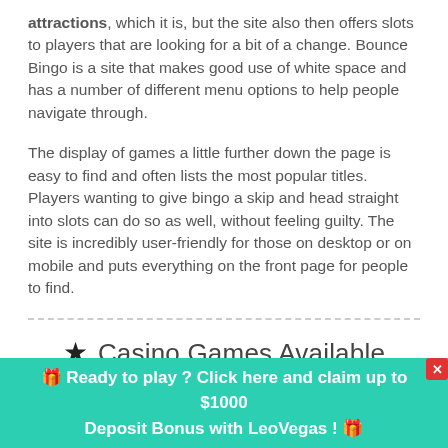attractions, which it is, but the site also then offers slots to players that are looking for a bit of a change. Bounce Bingo is a site that makes good use of white space and has a number of different menu options to help people navigate through.
The display of games a little further down the page is easy to find and often lists the most popular titles. Players wanting to give bingo a skip and head straight into slots can do so as well, without feeling guilty. The site is incredibly user-friendly for those on desktop or on mobile and puts everything on the front page for people to find.
★ Casino Games Available
🎁 Ready to play ? Click here and claim up to $1000 Deposit Bonus with LeoVegas ! 🎁